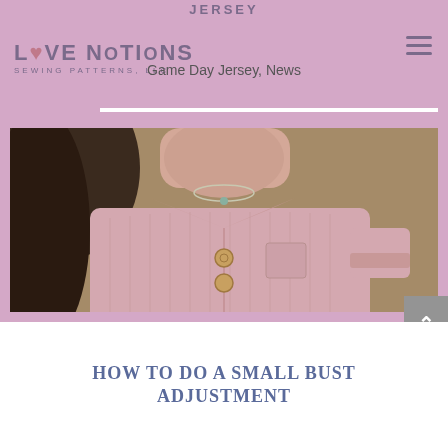JERSEY
Love Notions Sewing Patterns, LLC
Game Day Jersey, News
[Figure (photo): Close-up photo of a woman wearing a pink/blush cotton button-up shirt with collar, short sleeves with rolled cuffs, and a breast pocket. She is wearing a delicate necklace. The background is blurred greenery.]
HOW TO DO A SMALL BUST ADJUSTMENT